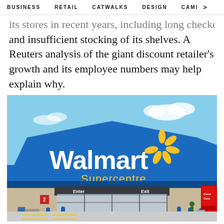BUSINESS   RETAIL   CATWALKS   DESIGN   CAMI  >
its stores in recent years, including long checkout lines and insufficient stocking of its shelves. A Reuters analysis of the giant discount retailer's growth and its employee numbers may help explain why.
[Figure (photo): Exterior photo of a Walmart Supercentre store showing the blue facade with the Walmart logo and yellow spark symbol, entrance and exit doors, blue bollards in the parking lot, and a Coca-Cola vending machine on the right side.]